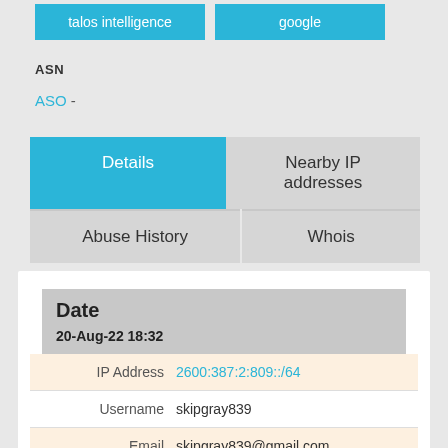[Figure (screenshot): Two teal buttons labeled 'talos intelligence' and 'google']
ASN
ASO -
Details | Nearby IP addresses | Abuse History | Whois
| Field | Value |
| --- | --- |
| Date | 20-Aug-22 18:32 |
| IP Address | 2600:387:2:809::/64 |
| Username | skipgray839 |
| Email | skipgray839@gmail.com |